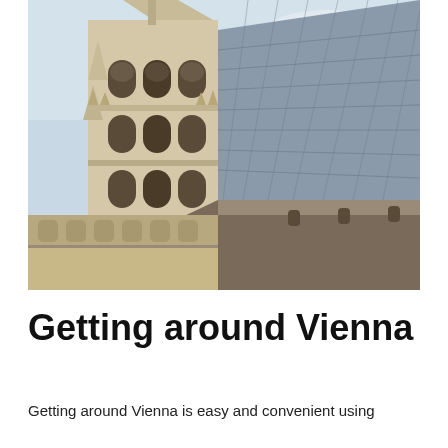[Figure (photo): Close-up photograph of St. Stephen's Cathedral (Stephansdom) in Vienna, showing the ornate Gothic tower with arched windows and the distinctive diamond-patterned tiled roof in blue, grey and gold]
Getting around Vienna
Getting around Vienna is easy and convenient using